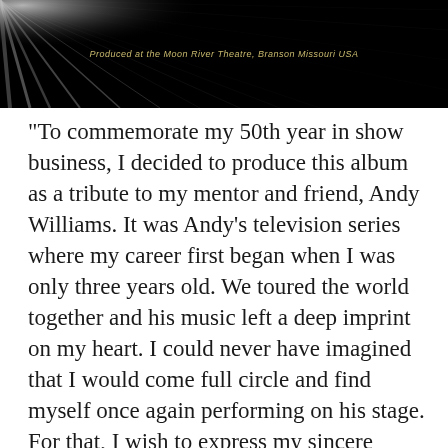[Figure (photo): Black banner header with radial light rays emanating from upper left corner and centered italic text reading 'Produced at the Moon River Theatre, Branson Missouri USA' in golden/yellow color]
“To commemorate my 50th year in show business, I decided to produce this album as a tribute to my mentor and friend, Andy Williams. It was Andy’s television series where my career first began when I was only three years old. We toured the world together and his music left a deep imprint on my heart. I could never have imagined that I would come full circle and find myself once again performing on his stage. For that, I wish to express my sincere gratitude to Andy’s family for allowing me this amazing honor.